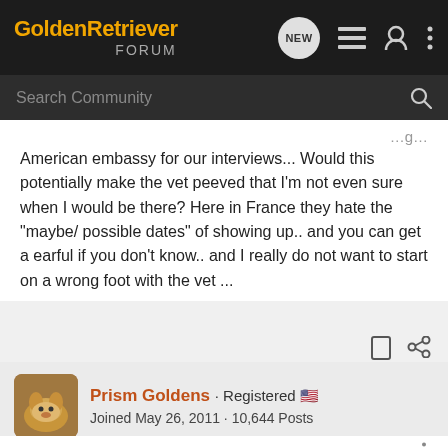GoldenRetriever FORUM | Search Community
American embassy for our interviews... Would this potentially make the vet peeved that I'm not even sure when I would be there? Here in France they hate the "maybe/ possible dates" of showing up.. and you can get a earful if you don't know.. and I really do not want to start on a wrong foot with the vet ...
Prism Goldens · Registered 🇺🇸
Joined May 26, 2011 · 10,644 Posts
#19 · May 17, 2022
Just make an appt for a time you are sure you'll be there, OR call and ask how far out you'd need to make an appt for a 'get